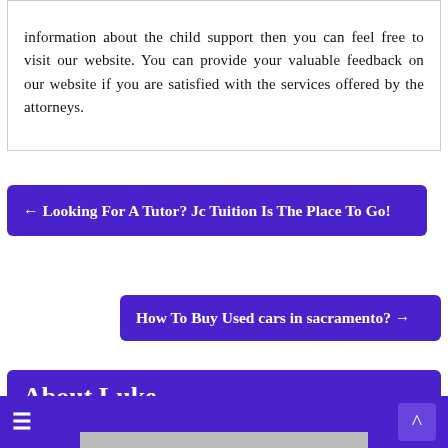information about the child support then you can feel free to visit our website. You can provide your valuable feedback on our website if you are satisfied with the services offered by the attorneys.
← Looking For A Tutor? Jc Tuition Is The Place To Go!
How To Buy Used cars in sacramento? →
About Luke
[Figure (photo): Photo of a person, partially visible at bottom of page]